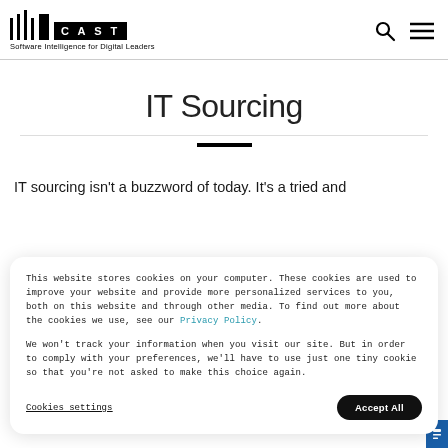[Figure (logo): CAST logo with vertical bars and 'Software Intelligence for Digital Leaders' tagline, plus search and menu icons]
IT Sourcing
IT sourcing isn't a buzzword of today. It's a tried and
This website stores cookies on your computer. These cookies are used to improve your website and provide more personalized services to you, both on this website and through other media. To find out more about the cookies we use, see our Privacy Policy.

We won't track your information when you visit our site. But in order to comply with your preferences, we'll have to use just one tiny cookie so that you're not asked to make this choice again.
Cookies settings
Accept All